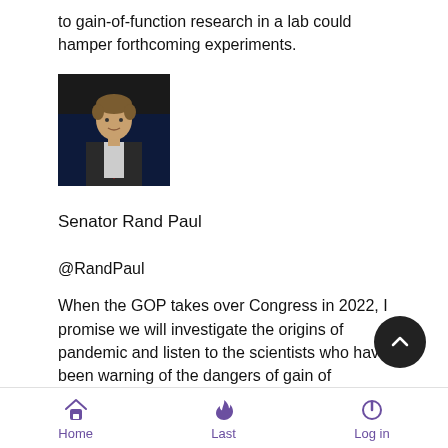to gain-of-function research in a lab could hamper forthcoming experiments.
[Figure (photo): Portrait photo of Senator Rand Paul in a dark setting, wearing a suit and red tie.]
Senator Rand Paul
@RandPaul
When the GOP takes over Congress in 2022, I promise we will investigate the origins of pandemic and listen to the scientists who have been warning of the dangers of gain of function research.
Home   Last   Log in